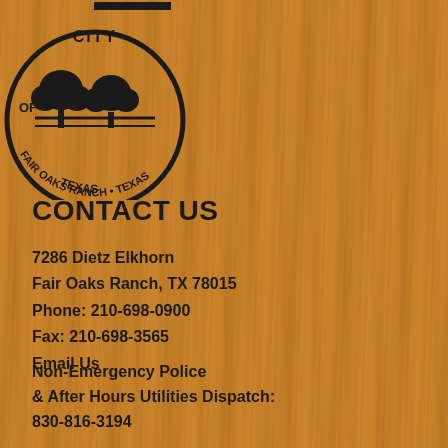[Figure (logo): City of Fair Oaks Ranch, Texas official city seal/logo — circular seal with trees and oak imagery, black on wood-grain background]
CONTACT US
7286 Dietz Elkhorn
Fair Oaks Ranch, TX 78015
Phone: 210-698-0900
Fax:  210-698-3565
Email Us
Non-Emergency Police & After Hours Utilities Dispatch:
830-816-3194